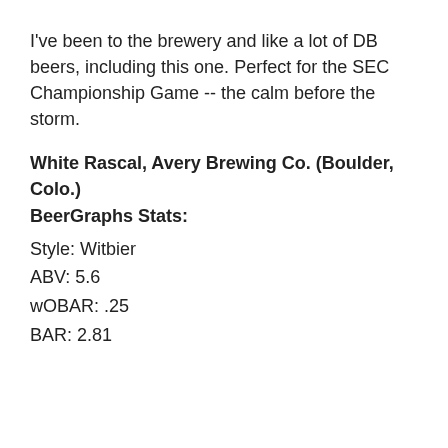I've been to the brewery and like a lot of DB beers, including this one. Perfect for the SEC Championship Game -- the calm before the storm.
White Rascal, Avery Brewing Co. (Boulder, Colo.)
BeerGraphs Stats:
Style: Witbier
ABV: 5.6
wOBAR: .25
BAR: 2.81